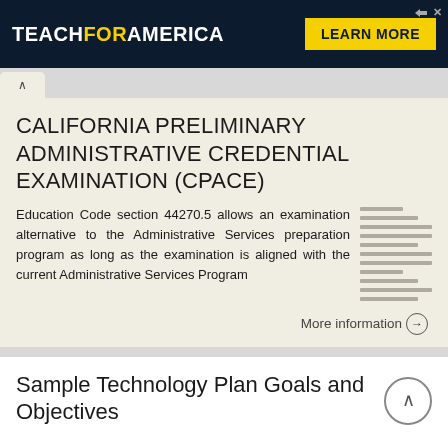[Figure (screenshot): Teach For America advertisement banner with yellow Learn More button on dark navy background]
CALIFORNIA PRELIMINARY ADMINISTRATIVE CREDENTIAL EXAMINATION (CPACE)
Education Code section 44270.5 allows an examination alternative to the Administrative Services preparation program as long as the examination is aligned with the current Administrative Services Program
More information →
Sample Technology Plan Goals and Objectives